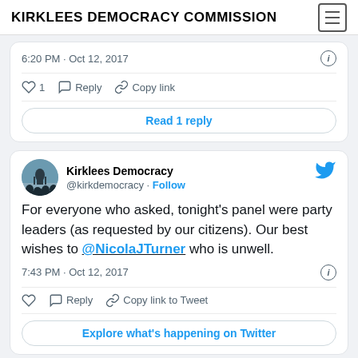KIRKLEES DEMOCRACY COMMISSION
6:20 PM · Oct 12, 2017
♡ 1   Reply   Copy link
Read 1 reply
[Figure (screenshot): Kirklees Democracy Twitter profile avatar showing crowd silhouette]
Kirklees Democracy @kirkdemocracy · Follow
For everyone who asked, tonight's panel were party leaders (as requested by our citizens). Our best wishes to @NicolaJTurner who is unwell.
7:43 PM · Oct 12, 2017
Reply   Copy link to Tweet
Explore what's happening on Twitter